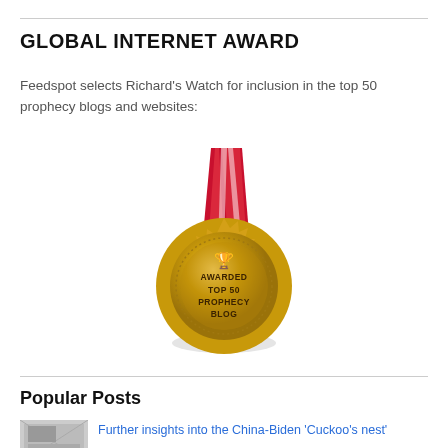GLOBAL INTERNET AWARD
Feedspot selects Richard's Watch for inclusion in the top 50 prophecy blogs and websites:
[Figure (illustration): Gold medal with red and white ribbon awarded 'Top 50 Prophecy Blog' with trophy icon]
Popular Posts
[Figure (photo): Small thumbnail image for blog post]
Further insights into the China-Biden 'Cuckoo's nest'